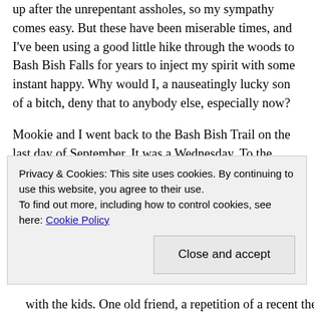up after the unrepentant assholes, so my sympathy comes easy. But these have been miserable times, and I've been using a good little hike through the woods to Bash Bish Falls for years to inject my spirit with some instant happy. Why would I, a nauseatingly lucky son of a bitch, deny that to anybody else, especially now?
Mookie and I went back to the Bash Bish Trail on the last day of September. It was a Wednesday. To the untrained, non-park-employee eye, the area showed no signs of the human invasion it had experienced over the summer, but the friendly Mass Park Policeman on duty that day to
Privacy & Cookies: This site uses cookies. By continuing to use this website, you agree to their use.
To find out more, including how to control cookies, see here: Cookie Policy
Close and accept
with the kids. One old friend, a repetition of a recent the